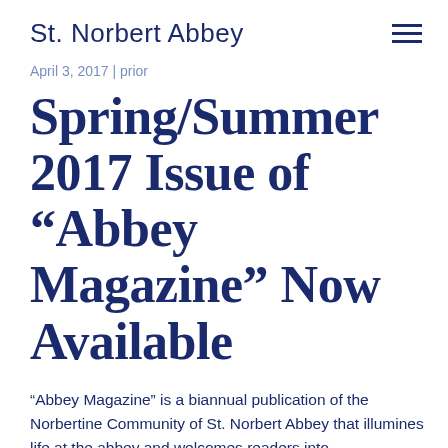St. Norbert Abbey
April 3, 2017 | prior
Spring/Summer 2017 Issue of “Abbey Magazine” Now Available
“Abbey Magazine” is a biannual publication of the Norbertine Community of St. Norbert Abbey that illumines life at the abbey and welcomes readers into